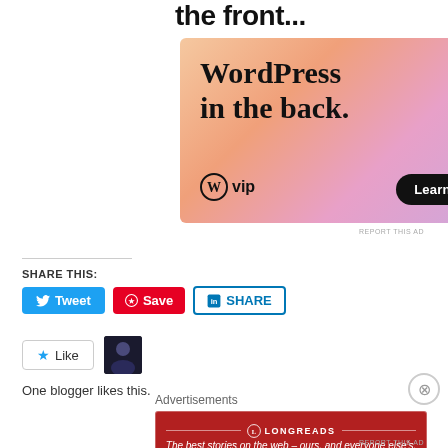the front...
[Figure (illustration): WordPress VIP advertisement banner with gradient background (orange to purple), text 'WordPress in the back.' with WordPress VIP logo and 'Learn more →' button]
REPORT THIS AD
SHARE THIS:
Tweet  Save  SHARE
Like
One blogger likes this.
Advertisements
[Figure (illustration): Longreads advertisement banner with dark red background, Longreads logo and text 'The best stories on the web – ours, and everyone else's.']